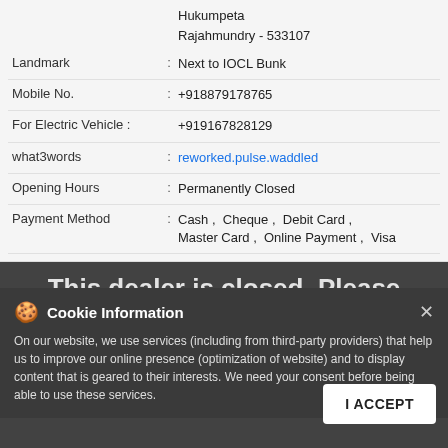Hukumpeta
Rajahmundry - 533107
Landmark : Next to IOCL Bunk
Mobile No. : +918879178765
For Electric Vehicle : +919167828129
what3words : reworked.pulse.waddled
Opening Hours : Permanently Closed
Payment Method : Cash, Cheque, Debit Card, Master Card, Online Payment, Visa
Parking Options : Free parking on site
This dealer is closed. Please check out the Nearby Dealers below
Cookie Information
On our website, we use services (including from third-party providers) that help us to improve our online presence (optimization of website) and to display content that is geared to their interests. We need your consent before being able to use these services.
Review Us
4